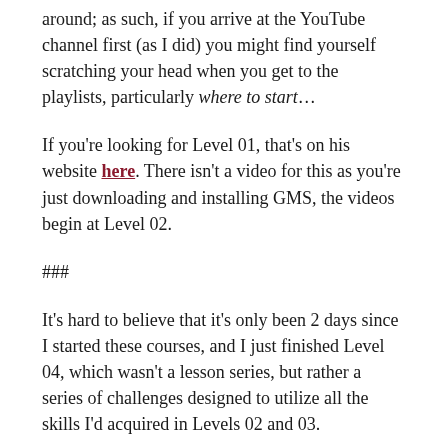around; as such, if you arrive at the YouTube channel first (as I did) you might find yourself scratching your head when you get to the playlists, particularly where to start…
If you're looking for Level 01, that's on his website here. There isn't a video for this as you're just downloading and installing GMS, the videos begin at Level 02.
###
It's hard to believe that it's only been 2 days since I started these courses, and I just finished Level 04, which wasn't a lesson series, but rather a series of challenges designed to utilize all the skills I'd acquired in Levels 02 and 03.